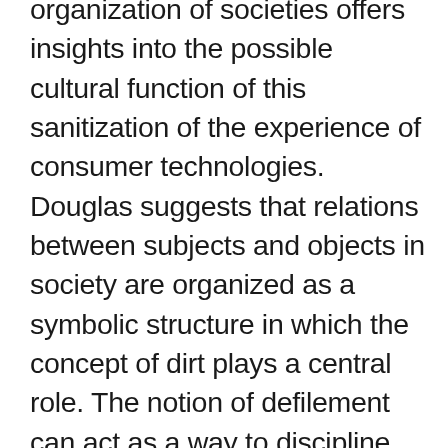organization of societies offers insights into the possible cultural function of this sanitization of the experience of consumer technologies. Douglas suggests that relations between subjects and objects in society are organized as a symbolic structure in which the concept of dirt plays a central role. The notion of defilement can act as a way to discipline behavior in areas where human control and enforcement of regulations are difficult. Defining dirt as “matter out of place,” Douglas identifies a progression of waste from a stage of “dirt” to what she calls “common rubbish.” In the dirt stage, rejected objects still have a degree of identity; they are perceived in relation to elements of the cultural structure but they have been rejected in order to secure this order. After a process of “pulverizing, dissolving and rotting,”